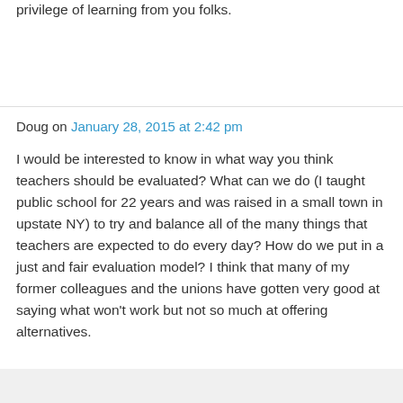privilege of learning from you folks.
Doug on January 28, 2015 at 2:42 pm
I would be interested to know in what way you think teachers should be evaluated? What can we do (I taught public school for 22 years and was raised in a small town in upstate NY) to try and balance all of the many things that teachers are expected to do every day? How do we put in a just and fair evaluation model? I think that many of my former colleagues and the unions have gotten very good at saying what won't work but not so much at offering alternatives.